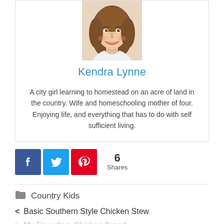[Figure (photo): Smiling woman with long brown hair, photo in author bio card]
Kendra Lynne
A city girl learning to homestead on an acre of land in the country. Wife and homeschooling mother of four. Enjoying life, and everything that has to do with self sufficient living.
[Figure (infographic): Social share buttons: Facebook (blue), Twitter (light blue), Pinterest (red), showing 6 Shares]
Country Kids
< Basic Southern Style Chicken Stew
> My Favorites: Chicken Breed